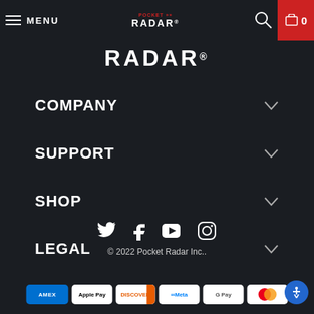MENU | POCKET RADAR | 0
[Figure (logo): Pocket Radar large logo in white text on dark background]
COMPANY
SUPPORT
SHOP
LEGAL
[Figure (other): Social media icons: Twitter, Facebook, YouTube, Instagram]
© 2022 Pocket Radar Inc..
[Figure (other): Payment method badges: AMEX, Apple Pay, Discover, Meta, Google Pay, Mastercard]